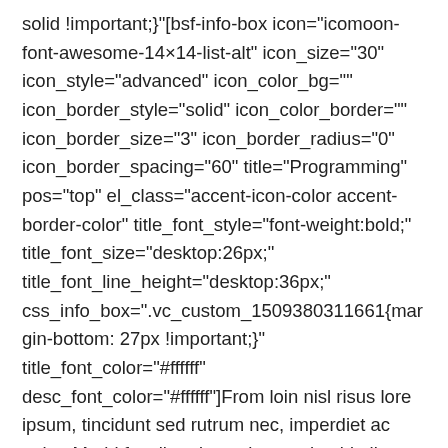solid !important;}"[bsf-info-box icon="icomoon-font-awesome-14×14-list-alt" icon_size="30" icon_style="advanced" icon_color_bg="" icon_border_style="solid" icon_color_border="" icon_border_size="3" icon_border_radius="0" icon_border_spacing="60" title="Programming" pos="top" el_class="accent-icon-color accent-border-color" title_font_style="font-weight:bold;" title_font_size="desktop:26px;" title_font_line_height="desktop:36px;" css_info_box=".vc_custom_1509380311661{margin-bottom: 27px !important;}" title_font_color="#ffffff" desc_font_color="#ffffff"]From loin nisl risus lore ipsum, tincidunt sed rutrum nec, imperdiet ac enim. Morbi faucibusd ac – lorem glavrida liquam erat volutpat.[/bsf-info-box][dt_fancy_separator separator_color="accent" line_thickness="3" el_width="60px"][/vc_column_inner][vc_column_inner width="1/3" css=".vc_custom_1499353533362{padding: 30px